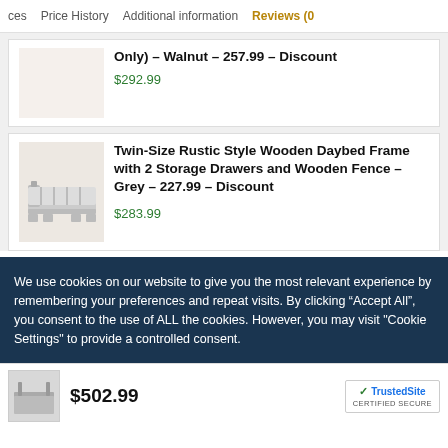ces   Price History   Additional information   Reviews (0
Only) – Walnut – 257.99 – Discount
$292.99
Twin-Size Rustic Style Wooden Daybed Frame with 2 Storage Drawers and Wooden Fence – Grey – 227.99 – Discount
$283.99
We use cookies on our website to give you the most relevant experience by remembering your preferences and repeat visits. By clicking “Accept All”, you consent to the use of ALL the cookies. However, you may visit "Cookie Settings" to provide a controlled consent.
$502.99
[Figure (other): TrustedSite CERTIFIED SECURE badge with green checkmark]